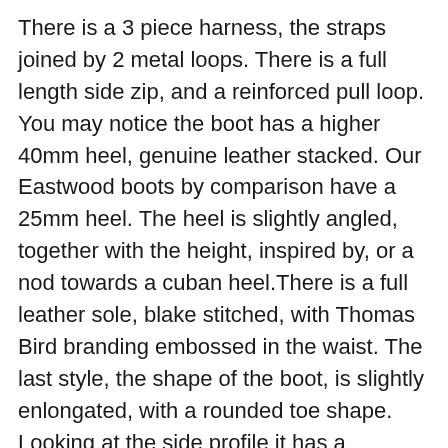There is a 3 piece harness, the straps joined by 2 metal loops. There is a full length side zip, and a reinforced pull loop. You may notice the boot has a higher 40mm heel, genuine leather stacked. Our Eastwood boots by comparison have a 25mm heel. The heel is slightly angled, together with the height, inspired by, or a nod towards a cuban heel.There is a full leather sole, blake stitched, with Thomas Bird branding embossed in the waist. The last style, the shape of the boot, is slightly enlongated, with a rounded toe shape. Looking at the side profile it has a beautiful, sweeping silhouette. The overall height profile of 22cm (approx 9") from the floor.